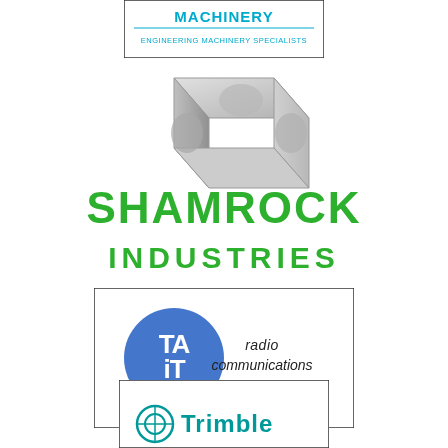[Figure (logo): Machinery - Engineering Machinery Specialists logo in a bordered box, teal/blue text]
[Figure (logo): Shamrock Industries logo: grey 3D cube with heart-shaped recesses on top, green bold text SHAMROCK INDUSTRIES below]
[Figure (logo): TAIT radio communications logo: blue circle with TAiT lettering in white, radio communications text in black italic, bordered box]
[Figure (logo): Trimble logo: partial view, circular emblem and Trimble text in teal/blue, bordered box]